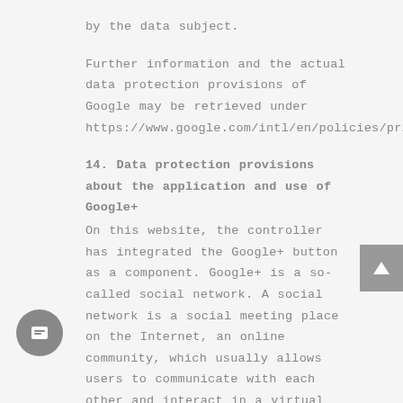by the data subject.
Further information and the actual data protection provisions of Google may be retrieved under https://www.google.com/intl/en/policies/privacy/.
14. Data protection provisions about the application and use of Google+
On this website, the controller has integrated the Google+ button as a component. Google+ is a so-called social network. A social network is a social meeting place on the Internet, an online community, which usually allows users to communicate with each other and interact in a virtual space. A social network may serve as a platform for the exchange of opinions and experiences, or enable the Internet community to provide personal or business-related information. Google+ allows users of the social